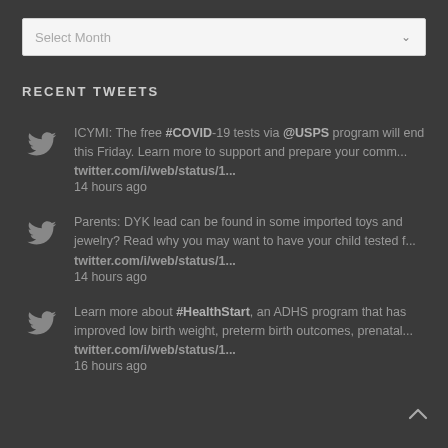Select Month
RECENT TWEETS
ICYMI: The free #COVID-19 tests via @USPS program will end this Friday. Learn more to support and prepare your comm... twitter.com/i/web/status/1... 14 hours ago
Parents: DYK lead can be found in some imported toys and jewelry? Read why you may want to have your child tested f... twitter.com/i/web/status/1... 14 hours ago
Learn more about #HealthStart, an ADHS program that has improved low birth weight, preterm birth outcomes, prenatal... twitter.com/i/web/status/1... 16 hours ago